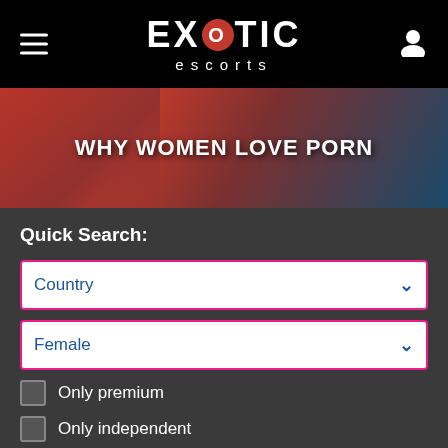EXOTIC escorts
[Figure (photo): Banner image with text WHY WOMEN LOVE PORN over a reddish background with a woman]
Quick Search:
Country (dropdown)
Female (dropdown)
Only premium (checkbox)
Only independent (checkbox)
Search
Advanced search